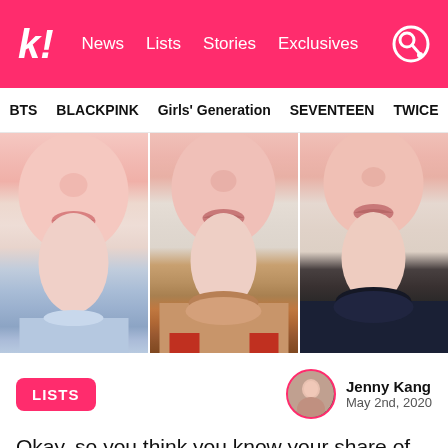k! News Lists Stories Exclusives
BTS BLACKPINK Girls' Generation SEVENTEEN TWICE
[Figure (photo): Three close-up cropped portrait photos of male K-pop idols showing their lower faces and necks, side by side. Left: wearing a light blue shirt. Center: wearing a brown turtleneck sweater with red accent. Right: wearing a dark navy/black turtleneck.]
LISTS
Jenny Kang
May 2nd, 2020
Okay, so you think you know your share of